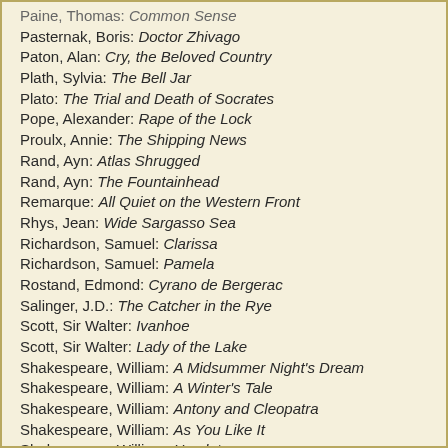Paine, Thomas: Common Sense
Pasternak, Boris: Doctor Zhivago
Paton, Alan: Cry, the Beloved Country
Plath, Sylvia: The Bell Jar
Plato: The Trial and Death of Socrates
Pope, Alexander: Rape of the Lock
Proulx, Annie: The Shipping News
Rand, Ayn: Atlas Shrugged
Rand, Ayn: The Fountainhead
Remarque: All Quiet on the Western Front
Rhys, Jean: Wide Sargasso Sea
Richardson, Samuel: Clarissa
Richardson, Samuel: Pamela
Rostand, Edmond: Cyrano de Bergerac
Salinger, J.D.: The Catcher in the Rye
Scott, Sir Walter: Ivanhoe
Scott, Sir Walter: Lady of the Lake
Shakespeare, William: A Midsummer Night's Dream
Shakespeare, William: A Winter's Tale
Shakespeare, William: Antony and Cleopatra
Shakespeare, William: As You Like It
Shakespeare, William: Hamlet
Shakespeare, William: Henry V